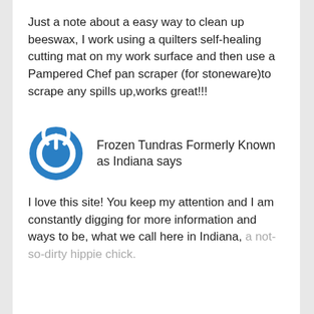Just a note about a easy way to clean up beeswax, I work using a quilters self-healing cutting mat on my work surface and then use a Pampered Chef pan scraper (for stoneware)to scrape any spills up,works great!!!
Frozen Tundras Formerly Known as Indiana says
I love this site! You keep my attention and I am constantly digging for more information and ways to be, what we call here in Indiana, a not-so-dirty hippie chick.